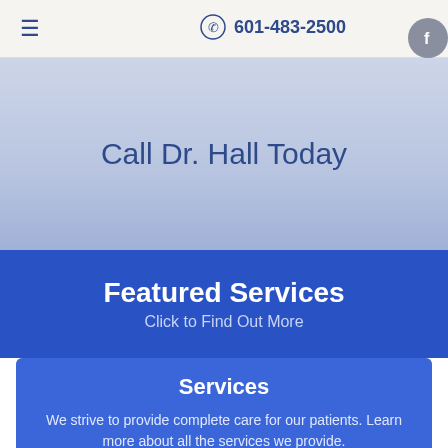≡  601-483-2500
Call Dr. Hall Today
Featured Services
Click to Find Out More
Services
We strive to provide complete care for our patients. Learn more about all the services we provide.